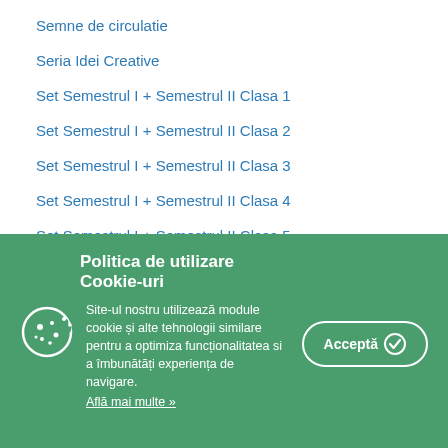Semne de circulatie
Seria Idei Creative
Set Semestrul I + Semestrul II Clasa 1
Set Semestrul I + Semestrul II Clasa 2
Set Semestrul I + Semestrul II Clasa 3
Set Semestrul I + Semestrul II Clasa 4
Set Semestrul I + Semestrul II Clasa 5
Politica de utilizare Cookie-uri
Site-ul nostru utilizează module cookie și alte tehnologii similare pentru a optimiza funcționalitatea si a îmbunătăți experiența de navigare.
Află mai multe »